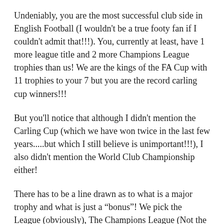Undeniably, you are the most successful club side in English Football (I wouldn't be a true footy fan if I couldn't admit that!!!). You, currently at least, have 1 more league title and 2 more Champions League trophies than us! We are the kings of the FA Cup with 11 trophies to your 7 but you are the record carling cup winners!!!
But you'll notice that although I didn't mention the Carling Cup (which we have won twice in the last few years.....but which I still believe is unimportant!!!), I also didn't mention the World Club Championship either!
There has to be a line drawn as to what is a major trophy and what is just a “bonus”! We pick the League (obviously), The Champions League (Not the Uefa Cup as I feel this just demonstrates inferiority)